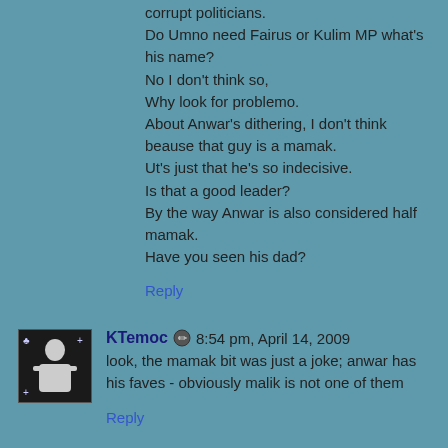corrupt politicians.
Do Umno need Fairus or Kulim MP what's his name?
No I don't think so,
Why look for problemo.
About Anwar's dithering, I don't think beause that guy is a mamak.
Ut's just that he's so indecisive.
Is that a good leader?
By the way Anwar is also considered half mamak.
Have you seen his dad?
Reply
KTemoc  8:54 pm, April 14, 2009
look, the mamak bit was just a joke; anwar has his faves - obviously malik is not one of them
Reply
Donplaypuks®  9:01 pm, April 14, 2009
I may be wrong, but I think the M'sian Assoc for Cows &